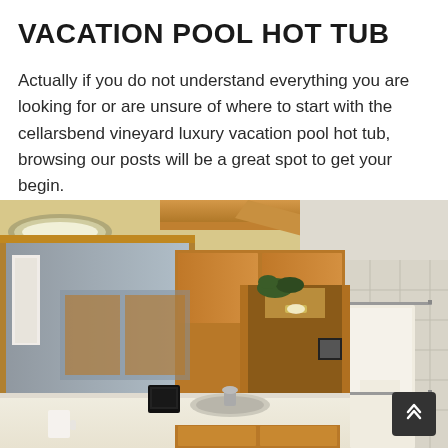VACATION POOL HOT TUB
Actually if you do not understand everything you are looking for or are unsure of where to start with the cellarsbend vineyard luxury vacation pool hot tub, browsing our posts will be a great spot to get your begin.
[Figure (photo): Interior bathroom photo showing wooden cabinets, vanity counter with sink, large mirror with wood frame reflecting towels, ceiling with wooden beam, doorway with wood trim, and white towels hanging on the right wall with tiled background.]